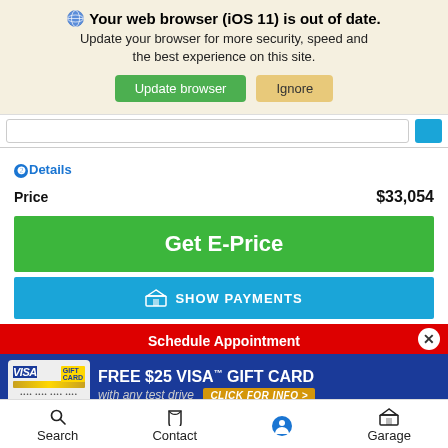🌐 Your web browser (iOS 11) is out of date. Update your browser for more security, speed and the best experience on this site.
Update browser | Ignore
❷Details
Price   $33,054
Get E-Price
🏠 SHOW PAYMENTS
Schedule Appointment
[Figure (screenshot): FREE $25 VISA GIFT CARD with any test drive. CLICK FOR INFO >]
🔍 Search   📞 Contact   ♿ (accessibility icon)   🏠 Garage